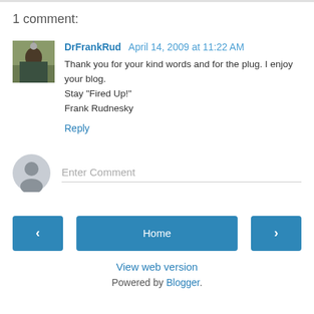1 comment:
DrFrankRud April 14, 2009 at 11:22 AM
Thank you for your kind words and for the plug. I enjoy your blog.
Stay "Fired Up!"
Frank Rudnesky
Reply
Enter Comment
Home
View web version
Powered by Blogger.